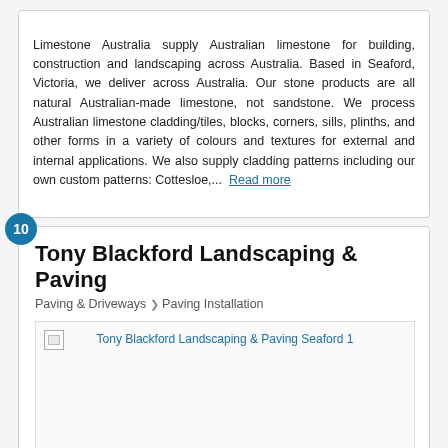Limestone Australia supply Australian limestone for building, construction and landscaping across Australia. Based in Seaford, Victoria, we deliver across Australia. Our stone products are all natural Australian-made limestone, not sandstone. We process Australian limestone cladding/tiles, blocks, corners, sills, plinths, and other forms in a variety of colours and textures for external and internal applications. We also supply cladding patterns including our own custom patterns: Cottesloe,... Read more
Tony Blackford Landscaping & Paving
Paving & Driveways > Paving Installation
[Figure (photo): Broken image placeholder for Tony Blackford Landscaping & Paving Seaford 1]
2/18 Govan Street, Seaford, VIC 3198